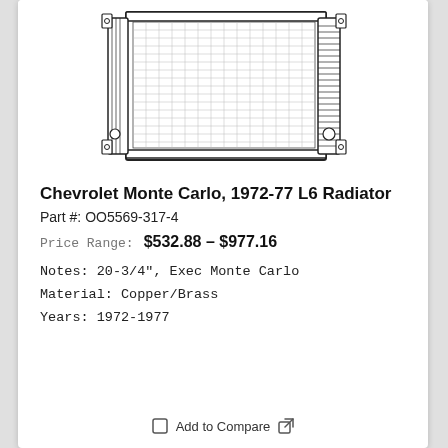[Figure (illustration): Line drawing / technical illustration of a car radiator, showing the front face with grid-pattern fins, mounting brackets, side tanks with fins, and hardware details.]
Chevrolet Monte Carlo, 1972-77 L6 Radiator
Part #: OO5569-317-4
Price Range: $532.88 – $977.16
Notes: 20-3/4", Exec Monte Carlo
Material: Copper/Brass
Years: 1972-1977
Add to Compare